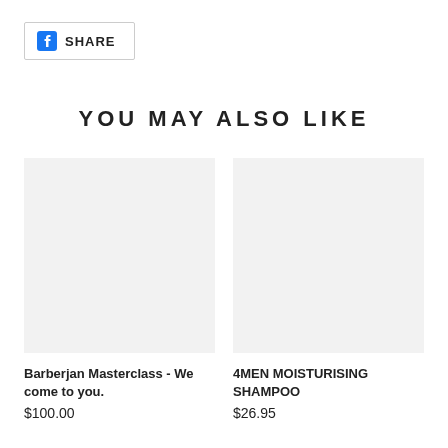[Figure (logo): Facebook share button with FB icon and SHARE text in a bordered rectangle]
YOU MAY ALSO LIKE
[Figure (photo): Blank light gray product image placeholder for Barberjan Masterclass]
Barberjan Masterclass - We come to you.
$100.00
[Figure (photo): Blank light gray product image placeholder for 4MEN MOISTURISING SHAMPOO]
4MEN MOISTURISING SHAMPOO
$26.95